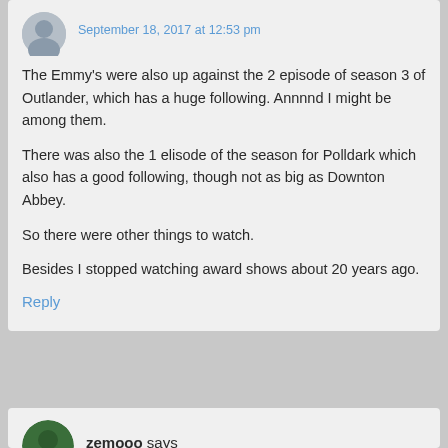September 18, 2017 at 12:53 pm (truncated at top)
The Emmy's were also up against the 2 episode of season 3 of Outlander, which has a huge following. Annnnd I might be among them.
There was also the 1 elisode of the season for Polldark which also has a good following, though not as big as Downton Abbey.
So there were other things to watch.
Besides I stopped watching award shows about 20 years ago.
Reply
zemooo says